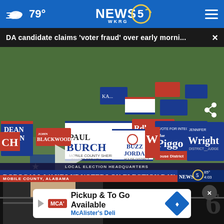79° NEWS 5 WKRG
DA candidate claims 'voter fraud' over early morni... ×
[Figure (screenshot): News video screenshot showing election campaign yard signs including Paul Burch Mobile County Sheriff, Buzz Jordan, Joe Piggo House District, Jennifer Wright, Dean Young Governor, Blackwood signs. Lower third overlay reads: LOCAL ELECTION HEADQUARTERS | ROBOCALL WAKES UP VOTERS ON ELECTION DAY | MOBILE COUNTY, ALABAMA | NEWS 5 | 85° 4:03]
[Figure (photo): Partial face visible behind ad overlay with large numbers 9 and 6 in background on dark bar]
Pickup & To Go Available
McAlister's Deli